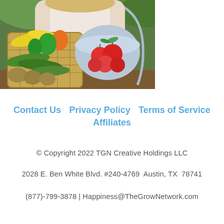[Figure (photo): Woman holding a wicker basket full of vegetables (squash, peppers, cucumbers, potatoes) and a colander with tomatoes, outdoors in a garden setting.]
Contact Us    Privacy Policy    Terms of Service
Affiliates
© Copyright 2022 TGN Creative Holdings LLC
2028 E. Ben White Blvd. #240-4769  Austin, TX  78741
(877)-799-3878 | Happiness@TheGrowNetwork.com